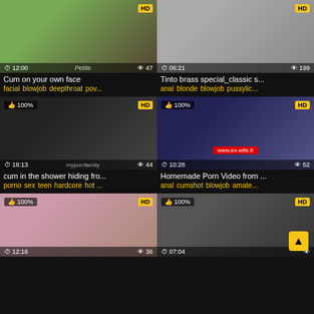[Figure (screenshot): Video thumbnail grid - top left: duration 12:00, views 47, HD badge]
Cum on your own face
facial blowjob deepthroat pov...
[Figure (screenshot): Video thumbnail - duration 06:21, views 199, HD badge]
Tinto brass special_classic s...
anal blonde blowjob pussylic...
[Figure (screenshot): Video thumbnail - 100%, duration 18:13, views 44, HD badge]
cum in the shower hiding fro...
porno sex teen hardcore hot ...
[Figure (screenshot): Video thumbnail - 100%, duration 10:28, views 52, HD badge, www.ex-wife.fr]
Homemade Porn Video from ...
anal cumshot blowjob amate...
[Figure (screenshot): Video thumbnail - 100%, duration 12:16, views 36, HD badge]
[Figure (screenshot): Video thumbnail - 100%, duration 07:04, HD badge]